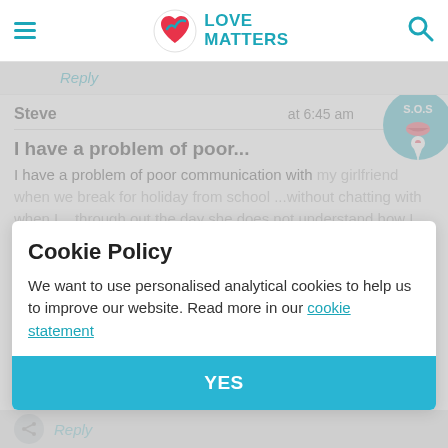LOVE MATTERS
Reply
Steve   at 6:45 am
I have a problem of poor...
I have a problem of poor communication with my girlfriend when we break for holiday from school ...without chatting with when I ...through out the day she does not understand how I feel without
Cookie Policy
We want to use personalised analytical cookies to help us to improve our website. Read more in our cookie statement
YES